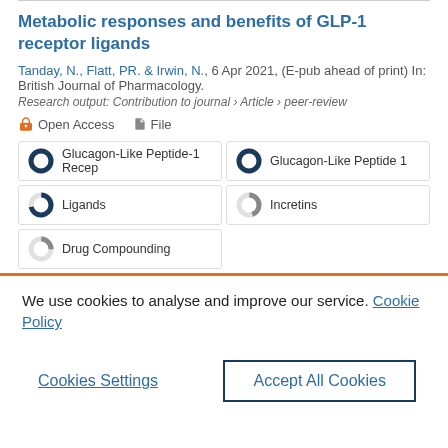Metabolic responses and benefits of GLP-1 receptor ligands
Tanday, N., Flatt, PR. & Irwin, N., 6 Apr 2021, (E-pub ahead of print) In: British Journal of Pharmacology.
Research output: Contribution to journal › Article › peer-review
Open Access   File
| Glucagon-Like Peptide-1 Recep | Glucagon-Like Peptide 1 |
| Ligands | Incretins |
| Drug Compounding |  |
We use cookies to analyse and improve our service. Cookie Policy
Cookies Settings
Accept All Cookies